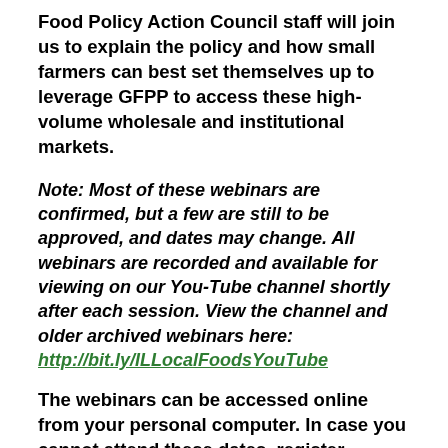Food Policy Action Council staff will join us to explain the policy and how small farmers can best set themselves up to leverage GFPP to access these high-volume wholesale and institutional markets.
Note: Most of these webinars are confirmed, but a few are still to be approved, and dates may change. All webinars are recorded and available for viewing on our You-Tube channel shortly after each session. View the channel and older archived webinars here: http://bit.ly/ILLocalFoodsYouTube
The webinars can be accessed online from your personal computer. In case you cannot attend these dates, register anyway to view an archived, recorded version. Information